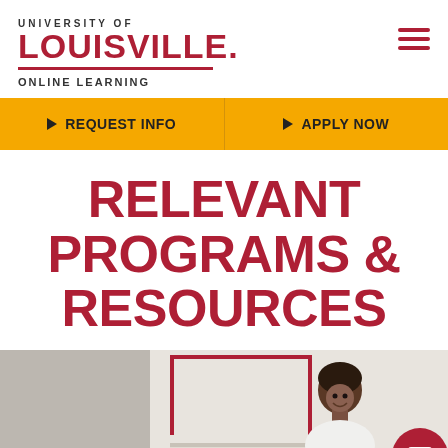[Figure (logo): University of Louisville Online Learning logo with red text and underline]
REQUEST INFO
APPLY NOW
RELEVANT PROGRAMS & RESOURCES
[Figure (photo): A smiling person in a classroom or office setting with red architectural elements in the background]